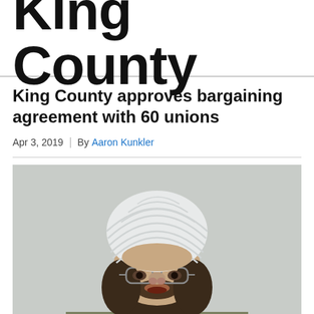King County
King County approves bargaining agreement with 60 unions
Apr 3, 2019  |  By Aaron Kunkler
[Figure (photo): A man wearing a white turban and glasses with a full dark beard, looking upward, wearing an olive/khaki colored shirt. The background is a plain light gray wall.]